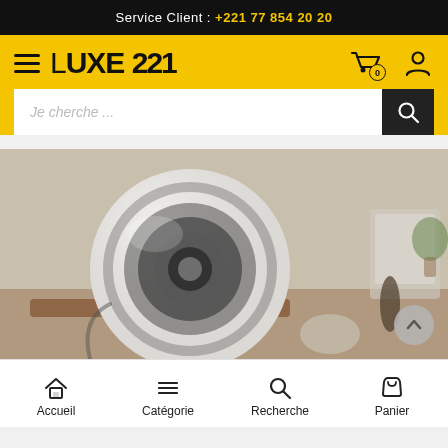Service Client : +221 77 854 20 20
[Figure (logo): Luxe221 logo with hamburger menu icon on yellow background header, with cart and user icons]
Je cherche ...
[Figure (photo): Photo of a white spherical speaker on a wooden stand, with a blurred desk background featuring a computer monitor and figurine]
Accueil   Catégorie   Recherche   Panier